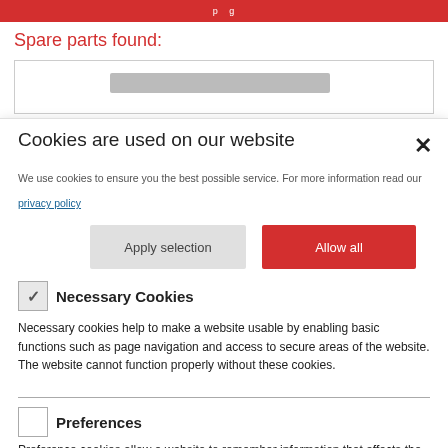p g
Spare parts found:
[Figure (screenshot): Gray search/filter bar area with a gray progress or input bar element]
Cookies are used on our website
We use cookies to ensure you the best possible service. For more information read our privacy policy
Apply selection
Allow all
Necessary Cookies
Necessary cookies help to make a website usable by enabling basic functions such as page navigation and access to secure areas of the website. The website cannot function properly without these cookies.
Preferences
Preference cookies allow a website to remember information that affects the way a website behaves or looks, such as your